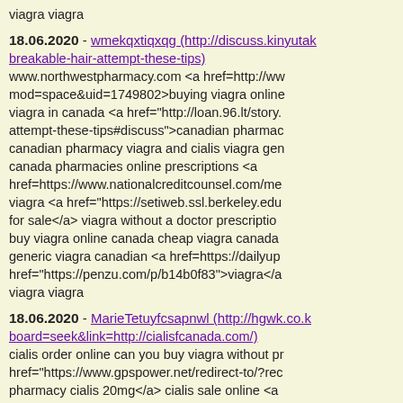viagra viagra
18.06.2020 - wmekqxtiqxqg (http://discuss.kinyutak... breakable-hair-attempt-these-tips)
www.northwestpharmacy.com <a href=http://ww mod=space&uid=1749802>buying viagra online viagra in canada <a href="http://loan.96.lt/story. attempt-these-tips#discuss">canadian pharmac canadian pharmacy viagra and cialis viagra gen canada pharmacies online prescriptions <a href=https://www.nationalcreditcounsel.com/me viagra <a href="https://setiweb.ssl.berkeley.edu for sale</a> viagra without a doctor prescriptio buy viagra online canada cheap viagra canada generic viagra canadian <a href=https://dailyup href="https://penzu.com/p/b14b0f83">viagra</a viagra viagra
18.06.2020 - MarieTetuyfcsapnwl (http://hgwk.co.k... board=seek&link=http://cialisfcanada.com/)
cialis order online can you buy viagra without pr href="https://www.gpspower.net/redirect-to/?rec pharmacy cialis 20mg</a> cialis sale online <a http://cialisfcanada.com/>tadalafil no prescriptio cialis no doctor's prescription cialis. com <a hre cialis from canada</a> cialis without a doctor p